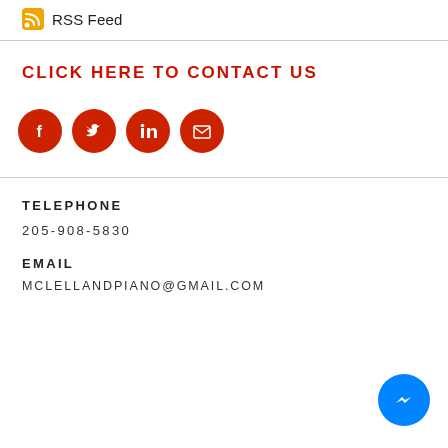RSS Feed
CLICK HERE TO CONTACT US
[Figure (other): Social media icons: Facebook, Twitter, LinkedIn, Email — red circular buttons]
TELEPHONE
205-908-5830
EMAIL
MCLELLANDPIANO@GMAIL.COM
[Figure (other): Blue Facebook Messenger floating button in bottom right corner]